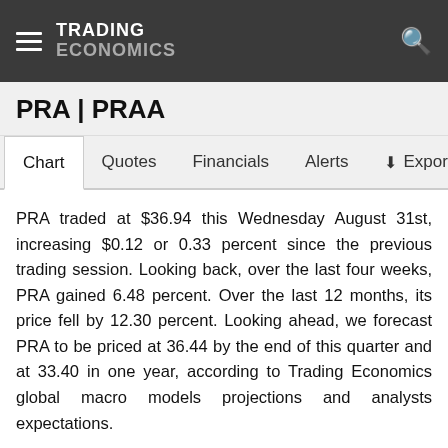TRADING ECONOMICS
PRA | PRAA
Chart  Quotes  Financials  Alerts  Export
PRA traded at $36.94 this Wednesday August 31st, increasing $0.12 or 0.33 percent since the previous trading session. Looking back, over the last four weeks, PRA gained 6.48 percent. Over the last 12 months, its price fell by 12.30 percent. Looking ahead, we forecast PRA to be priced at 36.44 by the end of this quarter and at 33.40 in one year, according to Trading Economics global macro models projections and analysts expectations.